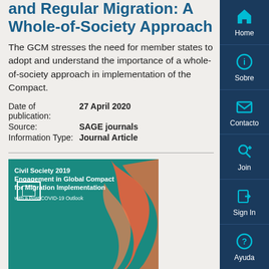and Regular Migration: A Whole-of-Society Approach
The GCM stresses the need for member states to adopt and understand the importance of a whole-of-society approach in implementation of the Compact.
| Date of publication: | 27 April 2020 |
| Source: | SAGE journals |
| Information Type: | Journal Article |
[Figure (illustration): Book cover: Civil Society 2019 Engagement in Global Compact for Migration Implementation with a Post COVID-19 Outlook, teal background with orange/flamingo decorative shape]
Civil Society 2019